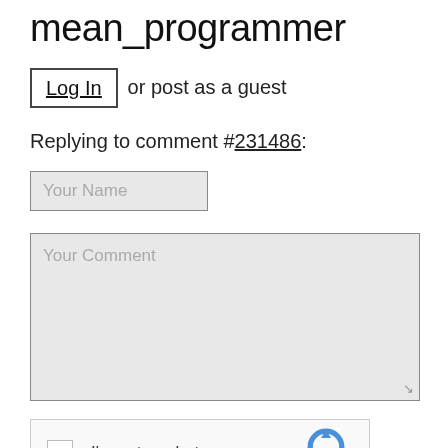mean_programmer
Log In or post as a guest
Replying to comment #231486:
Your Name
Your Comment
[Figure (other): reCAPTCHA widget with checkbox labeled I'm not a robot]